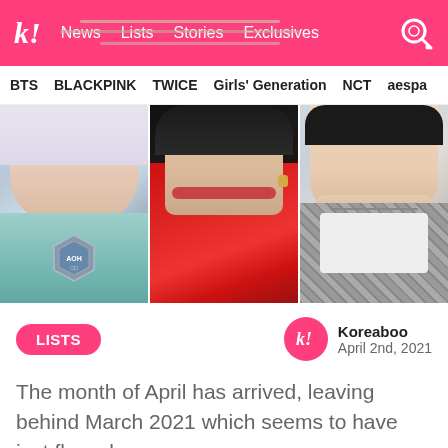k! News Lists Stories Exclusives
BTS BLACKPINK TWICE Girls' Generation NCT aespa
[Figure (photo): Three K-pop artist photos side by side: left - blonde/white haired artist in mint top with hexagonal badge, center - artist in red outfit against dark background, right - male artist in plaid jacket and white t-shirt]
LISTS
Koreaboo
April 2nd, 2021
The month of April has arrived, leaving behind March 2021 which seems to have just flown by.
[Figure (photo): Bottom portion of a K-pop artist photo, partially visible]